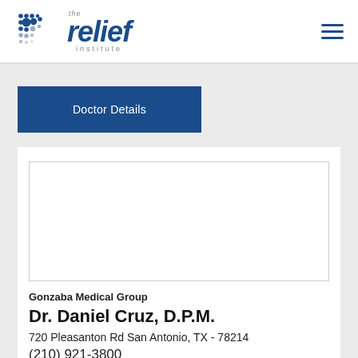[Figure (logo): The Relief Institute logo with dot-pattern icon and stylized italic 'relief' text in dark blue, with 'the' above and 'institute' below in gray]
[Figure (other): Hamburger menu icon (three horizontal dark blue lines)]
Doctor Details
[Figure (photo): Empty image placeholder with border (doctor photo area)]
Gonzaba Medical Group
Dr. Daniel Cruz, D.P.M.
720 Pleasanton Rd San Antonio, TX - 78214
(210) 921-3800